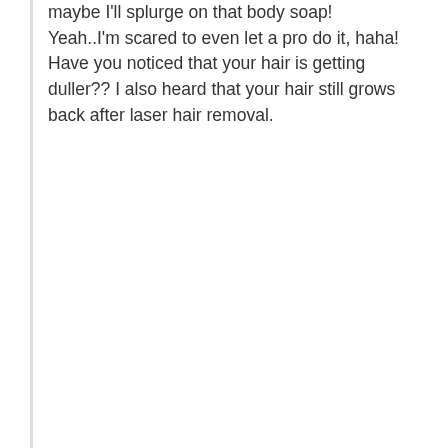maybe I'll splurge on that body soap! Yeah..I'm scared to even let a pro do it, haha! Have you noticed that your hair is getting duller?? I also heard that your hair still grows back after laser hair removal.
★ Liked by 1 person
DIVA NAMED DOM
February 10, 2018 at 3:34 am
Advertisements
[Figure (screenshot): DuckDuckGo advertisement banner with orange background, showing text 'Search, browse, and email with more privacy. All in One Free App' with DuckDuckGo logo and phone image on the right.]